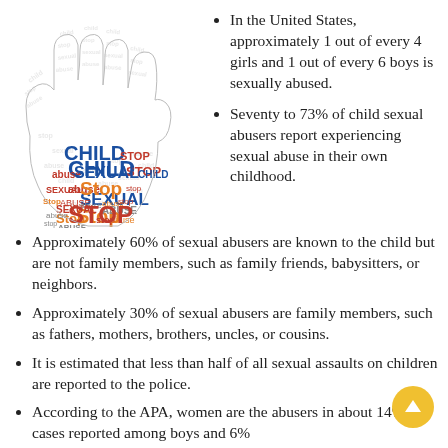[Figure (infographic): Word cloud shaped like a hand with words: CHILD, SEXUAL, STOP, abuse, stop repeated in various sizes and colors (blue, red, orange)]
In the United States, approximately 1 out of every 4 girls and 1 out of every 6 boys is sexually abused.
Seventy to 73% of child sexual abusers report experiencing sexual abuse in their own childhood.
Approximately 60% of sexual abusers are known to the child but are not family members, such as family friends, babysitters, or neighbors.
Approximately 30% of sexual abusers are family members, such as fathers, mothers, brothers, uncles, or cousins.
It is estimated that less than half of all sexual assaults on children are reported to the police.
According to the APA, women are the abusers in about 14% of cases reported among boys and 6%